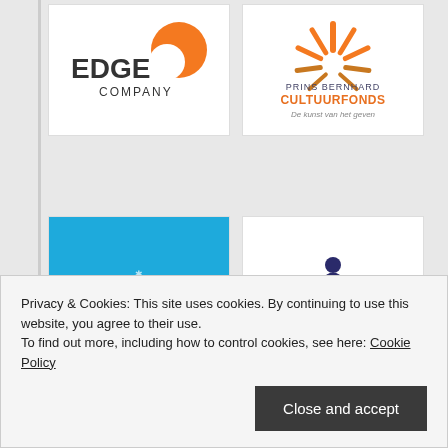[Figure (logo): EDGE Company logo with orange swoosh/comma shape]
[Figure (logo): Prins Bernhard Cultuurfonds logo with orange sunburst/fan design, subtitle De kunst van het geven]
[Figure (logo): Condomerie logo on blue background]
[Figure (logo): Rabobank logo with person standing on orange globe]
Privacy & Cookies: This site uses cookies. By continuing to use this website, you agree to their use.
To find out more, including how to control cookies, see here: Cookie Policy
Close and accept